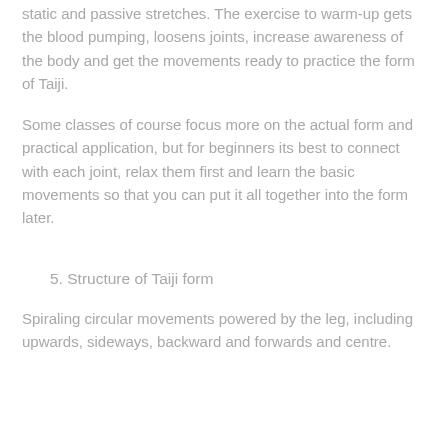static and passive stretches. The exercise to warm-up gets the blood pumping, loosens joints, increase awareness of the body and get the movements ready to practice the form of Taiji.
Some classes of course focus more on the actual form and practical application, but for beginners its best to connect with each joint, relax them first and learn the basic movements so that you can put it all together into the form later.
5. Structure of Taiji form
Spiraling circular movements powered by the leg, including upwards, sideways, backward and forwards and centre.